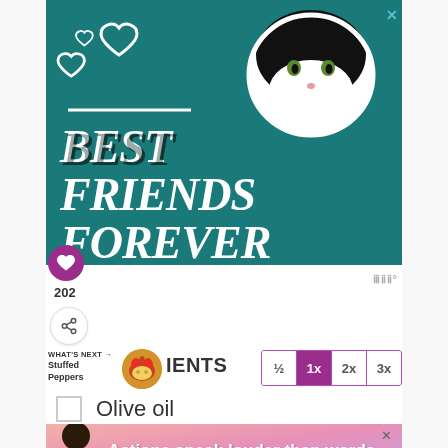[Figure (illustration): Advertisement banner with teal background showing a black and white cat, hearts, and text 'BEST FRIENDS FOREVER' in large white bold italic font. Has a close X button in top right.]
202
WHAT'S NEXT → Stuffed Peppers
IENTS
½  1x  2x  3x
Olive oil
[Figure (illustration): Bottom advertisement banner with pink/purple gradient background showing a person and text 'Actions speak louder than words.']